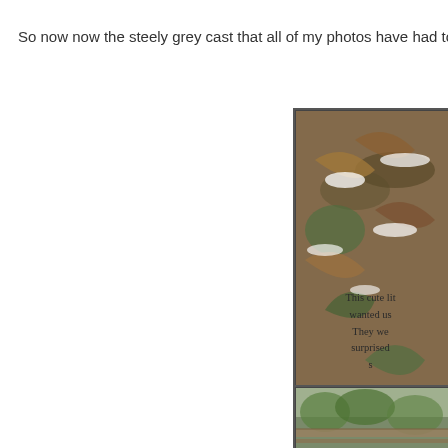So now now the steely grey cast that all of my photos have had to th
[Figure (photo): Close-up photo of snow-dusted dried leaves and plants, appearing to be a garden or outdoor plant cluster with brown and green foliage covered in light snow]
This cute lit wanted us They we surprised s
[Figure (photo): Partially visible photo showing green foliage and what appears to be a wooden structure or fence, partially cut off at page edge]